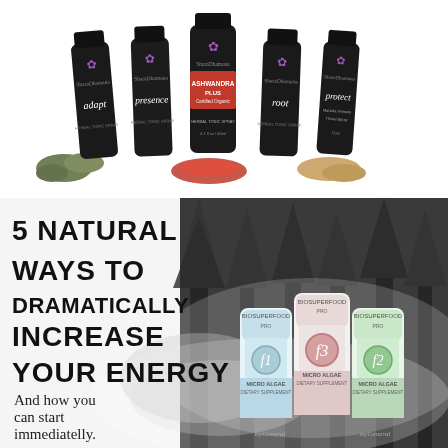[Figure (photo): Five black herbal supplement bottles with purple lotus logos labeled 'adapt', 'presence', 'ASHWANDRA PLUS', 'root', and 'protect', arranged with scattered herbs and spices in front.]
[Figure (infographic): Infographic banner with text '5 NATURAL WAYS TO DRAMATICALLY INCREASE YOUR ENERGY' and 'And how you can start immediatelly.' alongside product bottles labeled BioSuperfood f1, f3, f2 MICRO ALGAE dietary supplement, against a background showing fog and forest trees.]